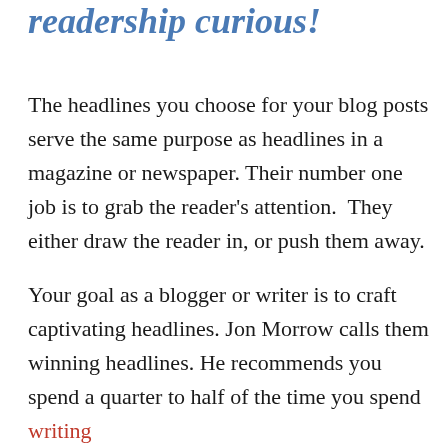readership curious!
The headlines you choose for your blog posts serve the same purpose as headlines in a magazine or newspaper. Their number one job is to grab the reader's attention.  They either draw the reader in, or push them away.
Your goal as a blogger or writer is to craft captivating headlines. Jon Morrow calls them winning headlines. He recommends you spend a quarter to half of the time you spend writing